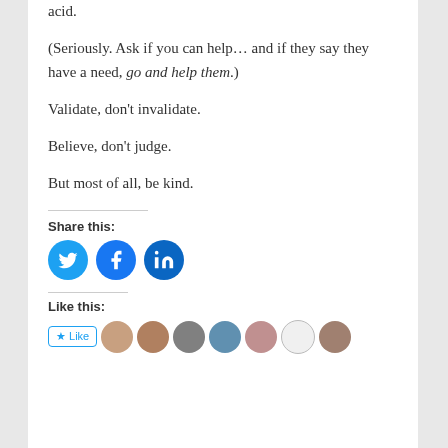acid.
(Seriously. Ask if you can help... and if they say they have a need, go and help them.)
Validate, don't invalidate.
Believe, don't judge.
But most of all, be kind.
Share this:
[Figure (other): Social share icons: Twitter, Facebook, LinkedIn]
Like this:
[Figure (other): Like button and user avatars]